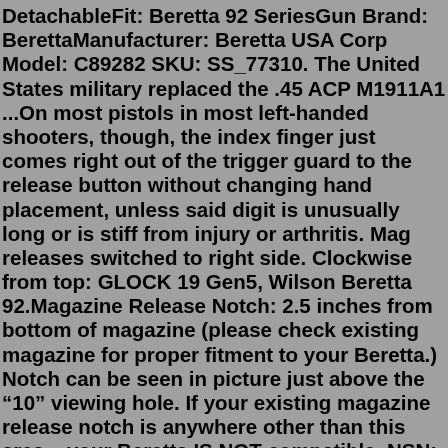DetachableFit: Beretta 92 SeriesGun Brand: BerettaManufacturer: Beretta USA Corp Model: C89282 SKU: SS_77310. The United States military replaced the .45 ACP M1911A1 ...On most pistols in most left-handed shooters, though, the index finger just comes right out of the trigger guard to the release button without changing hand placement, unless said digit is unusually long or is stiff from injury or arthritis. Mag releases switched to right side. Clockwise from top: GLOCK 19 Gen5, Wilson Beretta 92.Magazine Release Notch: 2.5 inches from bottom of magazine (please check existing magazine for proper fitment to your Beretta.) Notch can be seen in picture just above the “10” viewing hole. If your existing magazine release notch is anywhere other than this area – your Beretta IS NOT compatible. NSN: 1005-01-204-4376 Also Compatible with: • PT-92 • PT-99 • PT-100 • PT-101 • PT-92AR Will NOT Fit: • PT-908 • Old models with magazine release on the bottom of the left side of the grip frame Grip Screws: For best fit … pistols used 4 frame screw